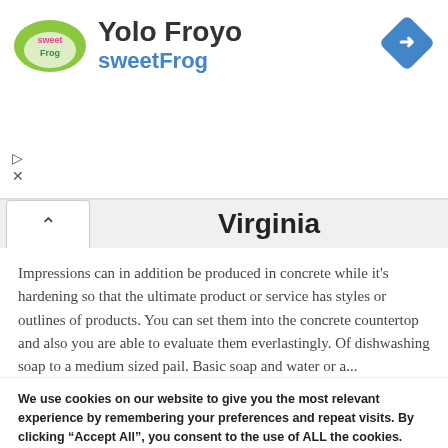[Figure (screenshot): sweetFrog ad banner showing logo, 'Yolo Froyo' title, 'sweetFrog' subtitle in blue, navigation arrow diamond icon, and play/close controls]
Virginia
Impressions can in addition be produced in concrete while it's hardening so that the ultimate product or service has styles or outlines of products. You can set them into the concrete countertop and also you are able to evaluate them everlastingly. Of dishwashing soap to a medium sized pail. Basic soap and water or a...
We use cookies on our website to give you the most relevant experience by remembering your preferences and repeat visits. By clicking "Accept All", you consent to the use of ALL the cookies. However, you may visit "Cookie Settings" to provide a controlled consent.